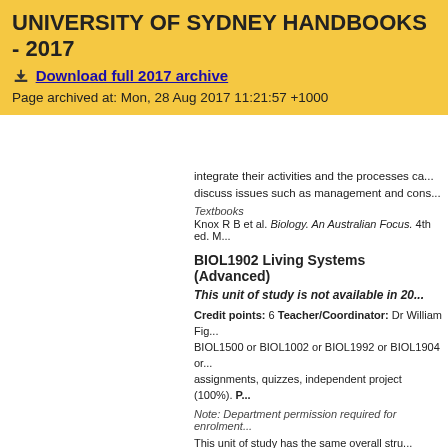UNIVERSITY OF SYDNEY HANDBOOKS - 2017
Download full 2017 archive
Page archived at: Mon, 28 Aug 2017 11:21:57 +1000
integrate their activities and the processes ca... discuss issues such as management and cons...
Textbooks
Knox R B et al. Biology. An Australian Focus. 4th ed. M...
BIOL1902 Living Systems (Advanced)
This unit of study is not available in 20...
Credit points: 6 Teacher/Coordinator: Dr William Fig... BIOL1500 or BIOL1002 or BIOL1992 or BIOL1904 or... assignments, quizzes, independent project (100%). P...
Note: Department permission required for enrolment...
This unit of study has the same overall stru... enrolled in BIOL1902 participate in alternative... trip to collect data for projects. The content an...
Textbooks
As for BIOL1002.
GEOS1001 Earth, Environment and So...
Credit points: 6 Teacher/Coordinator: Prof Bill Prtc...